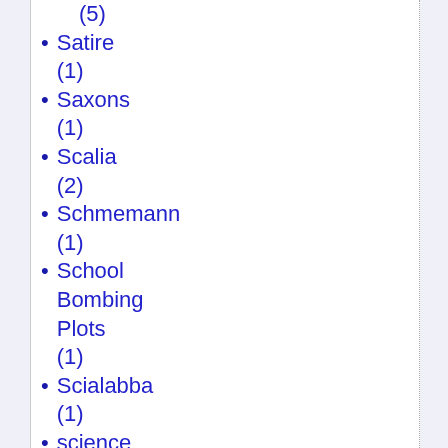(5)
Satire (1)
Saxons (1)
Scalia (2)
Schmemann (1)
School Bombing Plots (1)
Scialabba (1)
science (14)
scientism (3)
Scott Brown (1)
SCOTUS (1)
SEALs